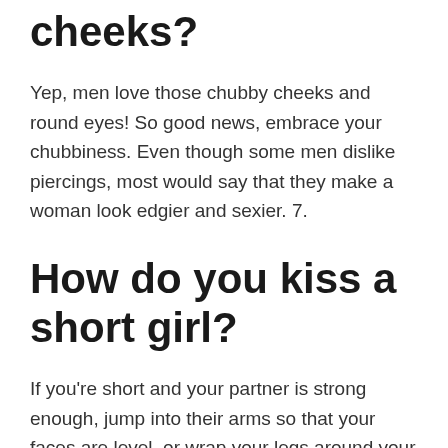cheeks?
Yep, men love those chubby cheeks and round eyes! So good news, embrace your chubbiness. Even though some men dislike piercings, most would say that they make a woman look edgier and sexier. 7.
How do you kiss a short girl?
If you're short and your partner is strong enough, jump into their arms so that your faces are level, or wrap your legs around your partner's waist and kiss them from above. Make sure to warn your partner